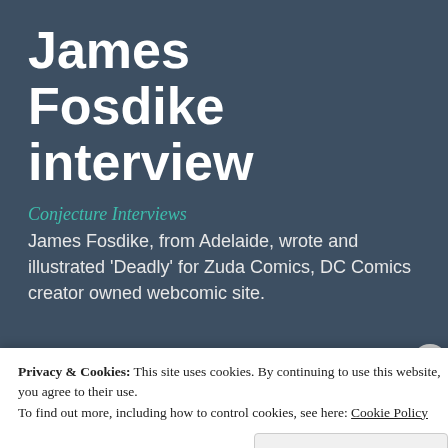James Fosdike interview
Conjecture Interviews
James Fosdike, from Adelaide, wrote and illustrated 'Deadly' for Zuda Comics, DC Comics creator owned webcomic site.
[Figure (illustration): Zuda Comics 'DEADLY' banner — fiery orange/brown comic artwork background with large white bold text reading 'ZUDA COMICS' and 'DEADLY']
Privacy & Cookies: This site uses cookies. By continuing to use this website, you agree to their use. To find out more, including how to control cookies, see here: Cookie Policy
Close and accept